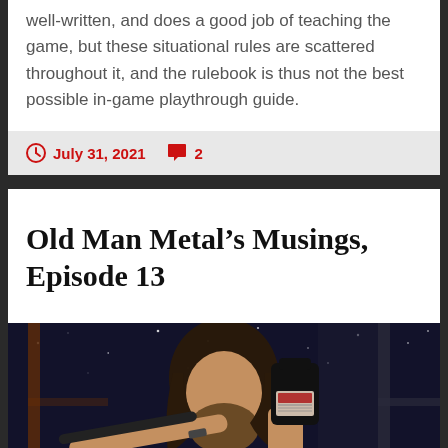well-written, and does a good job of teaching the game, but these situational rules are scattered throughout it, and the rulebook is thus not the best possible in-game playthrough guide.
July 31, 2021   2
Old Man Metal’s Musings, Episode 13
[Figure (photo): A man with long hair and a beard holding up a fountain pen in one hand and a small bottle of ink in the other, photographed against a background showing a window with a night sky and stars.]